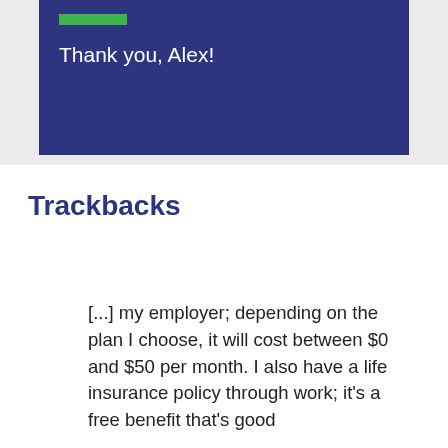[Figure (screenshot): Dark navy blue card/banner with a green horizontal bar at top and white text reading 'Thank you, Alex!' on a light grey background]
Trackbacks
[...] my employer; depending on the plan I choose, it will cost between $0 and $50 per month. I also have a life insurance policy through work; it's a free benefit that's good...